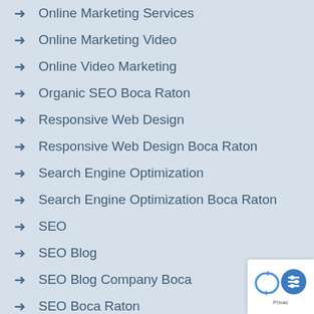Online Marketing Services
Online Marketing Video
Online Video Marketing
Organic SEO Boca Raton
Responsive Web Design
Responsive Web Design Boca Raton
Search Engine Optimization
Search Engine Optimization Boca Raton
SEO
SEO Blog
SEO Blog Company Boca
SEO Boca Raton
SEO Company Boca Raton